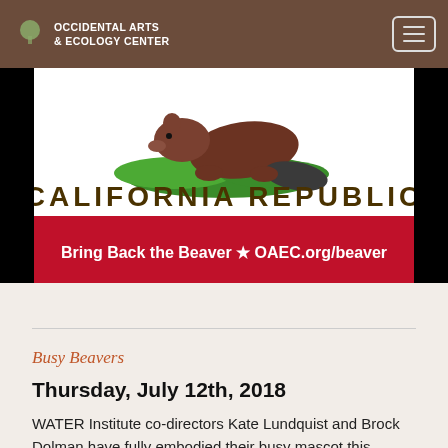Occidental Arts & Ecology Center
[Figure (illustration): California Republic flag modified with a beaver instead of a bear, showing a beaver on green grass with text 'CALIFORNIA REPUBLIC' and a red stripe at the bottom. Bottom text reads 'Bring Back the Beaver ★ OAEC.org/beaver']
Busy Beavers
Thursday, July 12th, 2018
WATER Institute co-directors Kate Lundquist and Brock Dolman have fully embodied their busy mascot this summer